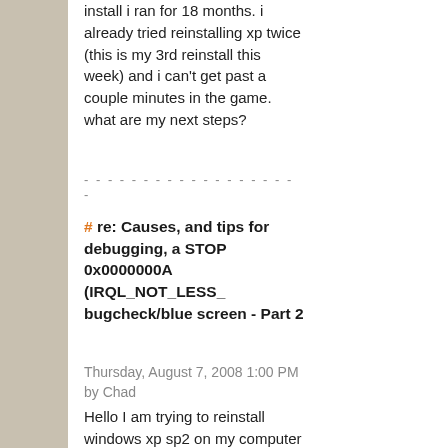install i ran for 18 months. i already tried reinstalling xp twice (this is my 3rd reinstall this week) and i can't get past a couple minutes in the game. what are my next steps?
- - - - - - - - - - - - - - - - - - -
# re: Causes, and tips for debugging, a STOP 0x0000000A (IRQL_NOT_LESS_ bugcheck/blue screen - Part 2
Thursday, August 7, 2008 1:00 PM by Chad
Hello I am trying to reinstall windows xp sp2 on my computer